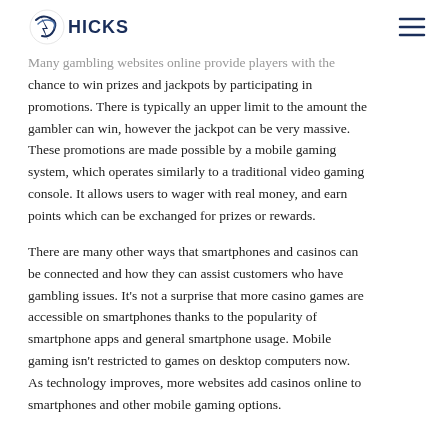HICKS
Many gambling websites online provide players with the chance to win prizes and jackpots by participating in promotions. There is typically an upper limit to the amount the gambler can win, however the jackpot can be very massive. These promotions are made possible by a mobile gaming system, which operates similarly to a traditional video gaming console. It allows users to wager with real money, and earn points which can be exchanged for prizes or rewards.
There are many other ways that smartphones and casinos can be connected and how they can assist customers who have gambling issues. It’s not a surprise that more casino games are accessible on smartphones thanks to the popularity of smartphone apps and general smartphone usage. Mobile gaming isn’t restricted to games on desktop computers now. As technology improves, more websites add casinos online to smartphones and other mobile gaming options.